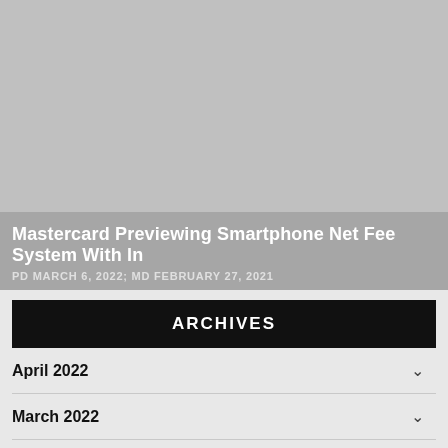[Figure (photo): Large gray image area representing a placeholder/thumbnail for an article]
Mastercard Previewing Smartphone Net Fee System With In
PD MARCH 6, 2022; MD FEBRUARY 27, 2021
ARCHIVES
April 2022
March 2022
February 2022
January 2022